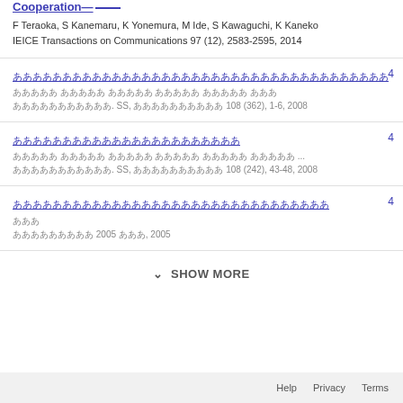Cooperation—
F Teraoka, S Kanemaru, K Yonemura, M Ide, S Kawaguchi, K Kaneko
IEICE Transactions on Communications 97 (12), 2583-2595, 2014
[Japanese title] 4
[Japanese authors]
[Japanese journal]. SS, [Japanese text] 108 (362), 1-6, 2008
[Japanese title] 4
[Japanese authors] ...
[Japanese journal]. SS, [Japanese text] 108 (242), 43-48, 2008
[Japanese title] 4
[Japanese author]
[Japanese journal] 2005 [text], 2005
SHOW MORE
Help   Privacy   Terms